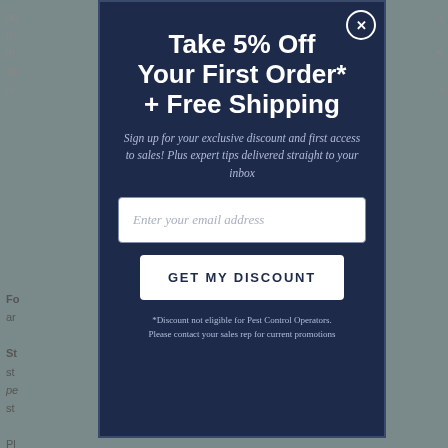Take 5% Off Your First Order* + Free Shipping
Sign up for your exclusive discount and first access to sales! Plus expert tips delivered straight to your inbox
Enter your email address
GET MY DISCOUNT
*Discount not eligible for Pest Control Operators. Please contact your sales rep for current promotions